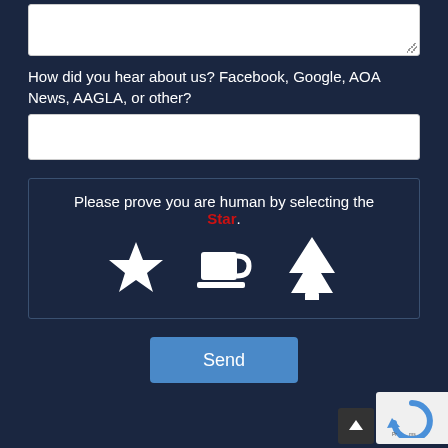[Figure (screenshot): Textarea input box with resize handle at bottom-right]
How did you hear about us? Facebook, Google, AOA News, AAGLA, or other?
[Figure (screenshot): Single-line text input box]
Please prove you are human by selecting the Star.
[Figure (infographic): CAPTCHA widget with three icons: star, coffee cup, and Christmas tree]
Send
[Figure (screenshot): reCAPTCHA badge and scroll-to-top button in bottom right corner]